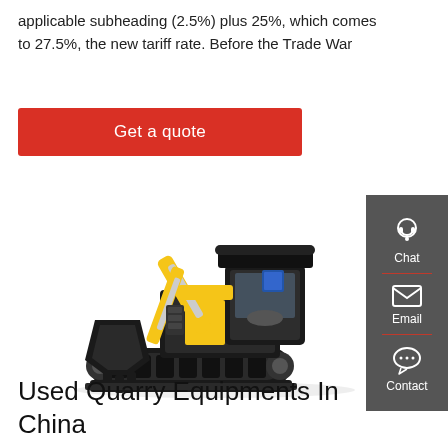applicable subheading (2.5%) plus 25%, which comes to 27.5%, the new tariff rate. Before the Trade War
Get a quote
[Figure (photo): Yellow mini excavator with black bucket attachment and rubber tracks, viewed from front-left angle on white background]
Used Quarry Equipments In China